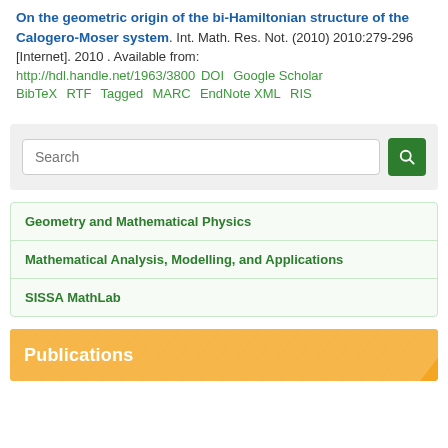On the geometric origin of the bi-Hamiltonian structure of the Calogero-Moser system. Int. Math. Res. Not. (2010) 2010:279-296 [Internet]. 2010 . Available from: http://hdl.handle.net/1963/3800 DOI  Google Scholar BibTeX  RTF  Tagged  MARC  EndNote XML  RIS
[Figure (screenshot): Search box with green search button]
Geometry and Mathematical Physics
Mathematical Analysis, Modelling, and Applications
SISSA MathLab
Publications